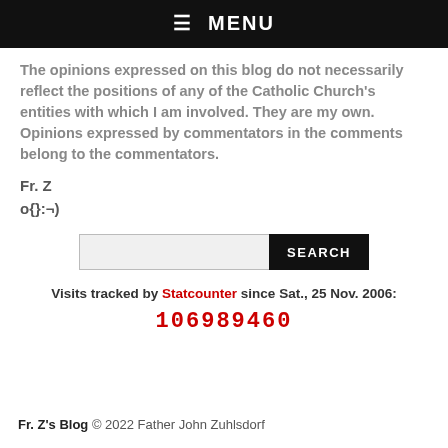☰ MENU
The opinions expressed on this blog do not necessarily reflect the positions of any of the Catholic Church's entities with which I am involved. They are my own. Opinions expressed by commentators in the comments belong to the commentators.
Fr. Z
o{}:¬)
[Figure (other): Search bar with text input field and SEARCH button]
Visits tracked by Statcounter since Sat., 25 Nov. 2006:
106989460
Fr. Z's Blog © 2022 Father John Zuhlsdorf